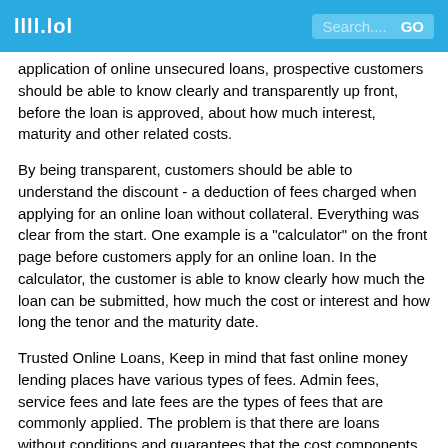llll.lol   Search....  GO
application of online unsecured loans, prospective customers should be able to know clearly and transparently up front, before the loan is approved, about how much interest, maturity and other related costs.
By being transparent, customers should be able to understand the discount - a deduction of fees charged when applying for an online loan without collateral. Everything was clear from the start. One example is a "calculator" on the front page before customers apply for an online loan. In the calculator, the customer is able to know clearly how much the loan can be submitted, how much the cost or interest and how long the tenor and the maturity date.
Trusted Online Loans, Keep in mind that fast online money lending places have various types of fees. Admin fees, service fees and late fees are the types of fees that are commonly applied. The problem is that there are loans without conditions and guarantees that the cost components are not transparent. These things need to be confirmed and clearly seen. Whether the cost deduction is clear at the beginning or not when applying